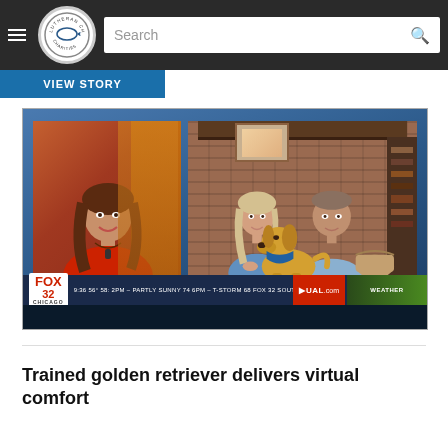Lutheran Church Charities - navigation bar with Search
[Figure (screenshot): FOX 32 Chicago news screenshot showing a female news anchor on the left in a red top, and on the right a couple sitting with a golden retriever wearing a blue bandana in front of a brick fireplace background. Lower third shows FOX 32 Chicago news ticker: 9:36 56° 58: 2PM - PARTLY SUNNY 74 6PM - T-STORM 68 FOX 32 SOUTH WEATHER UAL.com]
Trained golden retriever delivers virtual comfort